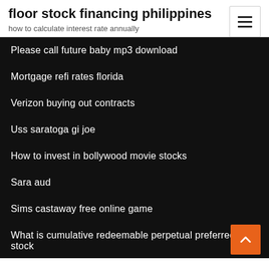floor stock financing philippines
how to calculate interest rate annually
Please call future baby mp3 download
Mortgage refi rates florida
Verizon buying out contracts
Uss saratoga gi joe
How to invest in bollywood movie stocks
Sara aud
Sims castaway free online game
What is cumulative redeemable perpetual preferred stock
Us cocoa etf
United states treasury online marketplace